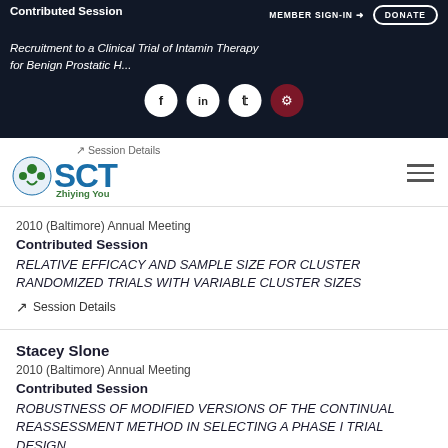Contributed Session | MEMBER SIGN-IN | DONATE
Recruitment to a Clinical Trial of Intamin Therapy for Benign Prostatic Hyperplasia
[Figure (logo): SCT (Society for Clinical Trials) logo with green figure icon and blue SCT text, plus social media icons and hamburger menu]
Session Details
Zhiying You
2010 (Baltimore) Annual Meeting
Contributed Session
RELATIVE EFFICACY AND SAMPLE SIZE FOR CLUSTER RANDOMIZED TRIALS WITH VARIABLE CLUSTER SIZES
Session Details
Stacey Slone
2010 (Baltimore) Annual Meeting
Contributed Session
ROBUSTNESS OF MODIFIED VERSIONS OF THE CONTINUAL REASSESSMENT METHOD IN SELECTING A PHASE I TRIAL DESIGN
Session Details